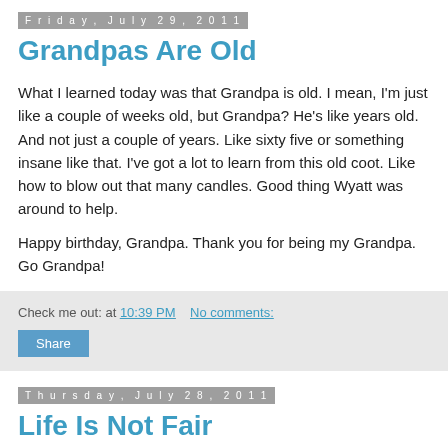Friday, July 29, 2011
Grandpas Are Old
What I learned today was that Grandpa is old. I mean, I'm just like a couple of weeks old, but Grandpa? He's like years old. And not just a couple of years. Like sixty five or something insane like that. I've got a lot to learn from this old coot. Like how to blow out that many candles. Good thing Wyatt was around to help.
Happy birthday, Grandpa. Thank you for being my Grandpa. Go Grandpa!
Check me out: at 10:39 PM   No comments:
Share
Thursday, July 28, 2011
Life Is Not Fair